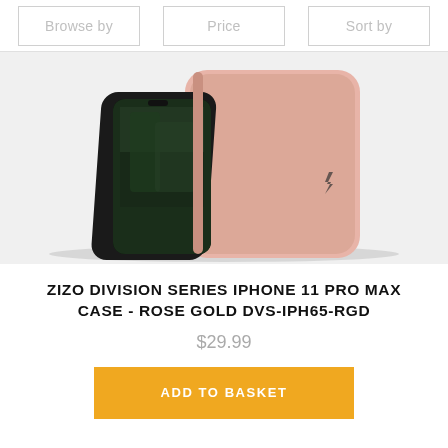Browse by   Price   Sort by
[Figure (photo): Product photo of a rose gold iPhone 11 Pro Max case showing two angles: one displaying the phone screen side and another showing the back of the case with a lightning bolt logo, against a light gray background.]
ZIZO DIVISION SERIES IPHONE 11 PRO MAX CASE - ROSE GOLD DVS-IPH65-RGD
$29.99
ADD TO BASKET